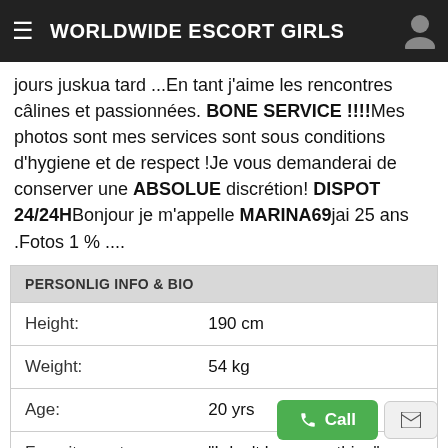WORLDWIDE ESCORT GIRLS
jours juskua tard ...En tant j'aime les rencontres câlines et passionnées. BONE SERVICE !!!!Mes photos sont mes services sont sous conditions d'hygiene et de respect !Je vous demanderai de conserver une ABSOLUE discrétion! DISPOT 24/24HBonjour je m'appelle MARINA69jai 25 ans .Fotos 1 % ....
| Field | Value |
| --- | --- |
| Height: | 190 cm |
| Weight: | 54 kg |
| Age: | 20 yrs |
| Favorite quote: | "I don't know anything" |
| Nationality: | Moldovan |
| Preferences: | I searching nsa sex |